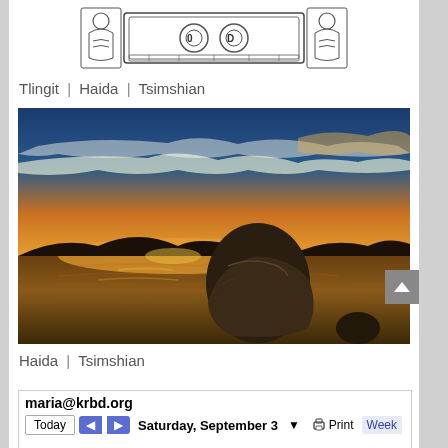[Figure (illustration): Decorative header logo with indigenous/tribal art motifs in black and white, featuring geometric patterns and figures]
Tlingit | Haida | Tsimshian
[Figure (photo): Dramatic sunset photo over water with a large boulder rock in the foreground, golden and blue sky with clouds reflecting on the water surface, dark silhouetted mountains in the background]
Haida | Tsimshian
maria@krbd.org
Today  ◄  ► Saturday, September 3 ▼  Print  Week